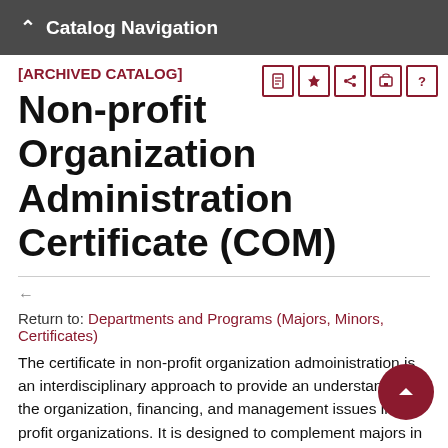Catalog Navigation
[ARCHIVED CATALOG]
Non-profit Organization Administration Certificate (COM)
Return to: Departments and Programs (Majors, Minors, Certificates)
The certificate in non-profit organization admoinistration is an interdisciplinary approach to provide an understanding of the organization, financing, and management issues in non-profit organizations. It is designed to complement majors in artistic, advocacy, and educational endeavors.